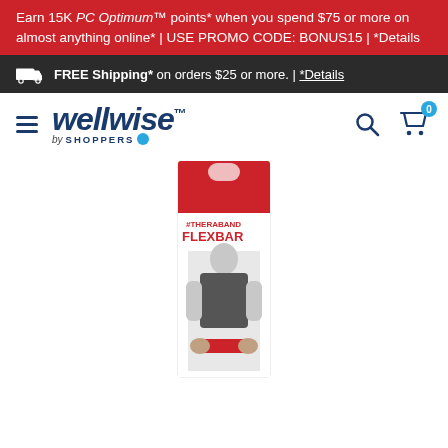Earn 15K PC Optimum™ points* when you spend $75 or more on almost anything online* | USE PROMO CODE: BONUS15 | *Details
FREE Shipping* on orders $25 or more. | *Details
[Figure (logo): Wellwise by Shoppers Drug Mart logo with navigation icons (hamburger menu, search, cart with 0 badge)]
[Figure (photo): TheraBand FlexBar product in red and white packaging showing a man holding the flexbar]